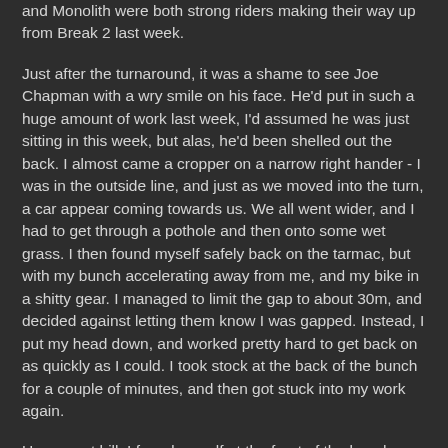and Monolith were both strong riders making their way up from Break 2 last week.
Just after the turnaround, it was a shame to see Joe Chapman with a wry smile on his face. He'd put in such a huge amount of work last week, I'd assumed he was just sitting in this week, but alas, he'd been shelled out the back. I almost came a cropper on a narrow right hander - I was in the outside line, and just as we moved into the turn, a car appear coming towards us. We all went wider, and I had to get through a pothole and then onto some wet grass. I then found myself safely back on the tarmac, but with my bunch accelerating away from me, and my bike in a shitty gear. I managed to limit the gap to about 30m, and decided against letting them know I was gapped. Instead, I put my head down, and worked pretty hard to get back on as quickly as I could. I took stock at the back of the bunch for a couple of minutes, and then got stuck into my work again.
Up cowpat hill, I found myself at the front of the bunch, and thought it was probably a good idea to go fairly hard up the hill, and reduce the size of the bunch a bit. There was